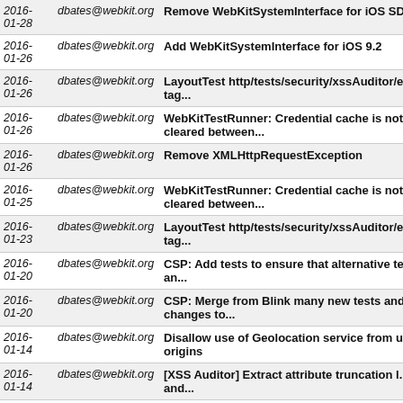| Date | Author | Message |
| --- | --- | --- |
| 2016-01-28 | dbates@webkit.org | Remove WebKitSystemInterface for iOS SD... |
| 2016-01-26 | dbates@webkit.org | Add WebKitSystemInterface for iOS 9.2 |
| 2016-01-26 | dbates@webkit.org | LayoutTest http/tests/security/xssAuditor/e... tag... |
| 2016-01-26 | dbates@webkit.org | WebKitTestRunner: Credential cache is not cleared between... |
| 2016-01-26 | dbates@webkit.org | Remove XMLHttpRequestException |
| 2016-01-25 | dbates@webkit.org | WebKitTestRunner: Credential cache is not cleared between... |
| 2016-01-23 | dbates@webkit.org | LayoutTest http/tests/security/xssAuditor/e... tag... |
| 2016-01-20 | dbates@webkit.org | CSP: Add tests to ensure that alternative te... an... |
| 2016-01-20 | dbates@webkit.org | CSP: Merge from Blink many new tests and... changes to... |
| 2016-01-14 | dbates@webkit.org | Disallow use of Geolocation service from u... origins |
| 2016-01-14 | dbates@webkit.org | [XSS Auditor] Extract attribute truncation l... and... |
| 2016-01-14 | dbates@webkit.org | [XSS Auditor] Partial bypass when web ser... collapses... |
| 2016-01-12 | dbates@webkit.org | XSS Auditor should navigate to empty sub... data... |